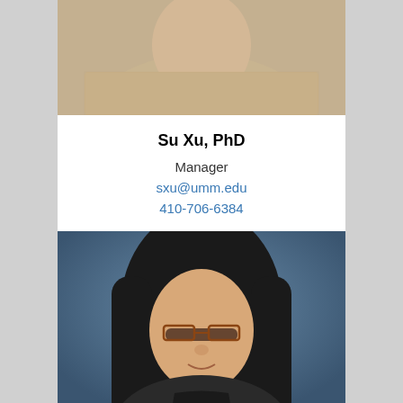[Figure (photo): Partial headshot photo of person in beige/tan sweater, cropped at top showing torso and lower face area]
Su Xu, PhD
Manager
sxu@umm.edu
410-706-6384
[Figure (photo): Professional headshot of Asian woman with dark hair, glasses, wearing dark clothing against blue-grey background, smiling]